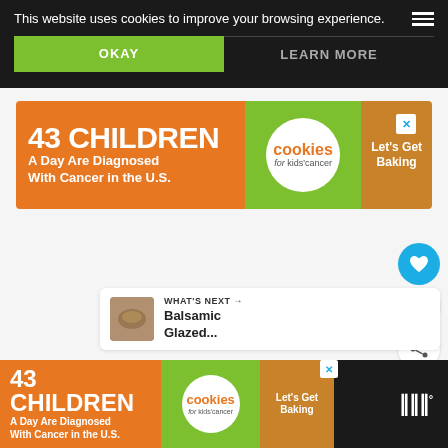This website uses cookies to improve your browsing experience.
OKAY
LEARN MORE
[Figure (infographic): Advertisement banner for '43 Children A Day Are Diagnosed With Cancer in the U.S.' for Cookies for Kids Cancer with 'Let's Get Baking' call to action]
[Figure (infographic): Heart/like button (blue circle with heart icon), count of 1, and share button]
WHAT'S NEXT → Balsamic Glazed...
[Figure (infographic): Bottom advertisement banner: 43 Children A Day Are Diagnosed With Cancer in the U.S., Cookies for Kids Cancer, Let's Get Baking. Wunderground logo on right.]